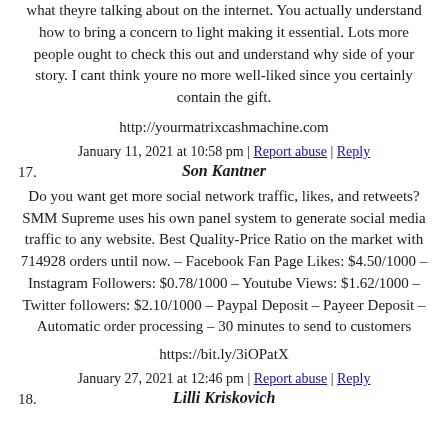what theyre talking about on the internet. You actually understand how to bring a concern to light making it essential. Lots more people ought to check this out and understand why side of your story. I cant think youre no more well-liked since you certainly contain the gift.
http://yourmatrixcashmachine.com
January 11, 2021 at 10:58 pm | Report abuse | Reply
Son Kantner
Do you want get more social network traffic, likes, and retweets? SMM Supreme uses his own panel system to generate social media traffic to any website. Best Quality-Price Ratio on the market with 714928 orders until now. – Facebook Fan Page Likes: $4.50/1000 – Instagram Followers: $0.78/1000 – Youtube Views: $1.62/1000 – Twitter followers: $2.10/1000 – Paypal Deposit – Payeer Deposit – Automatic order processing – 30 minutes to send to customers
https://bit.ly/3iOPatX
January 27, 2021 at 12:46 pm | Report abuse | Reply
Lilli Kriskovich